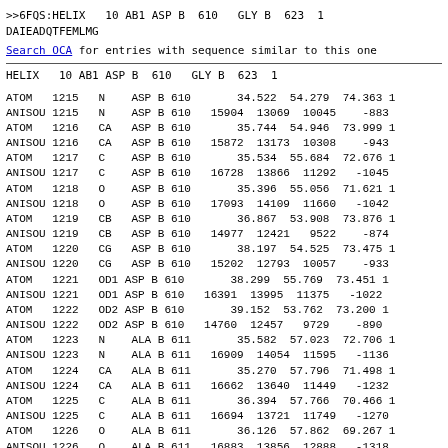>>6FQS:HELIX   10 AB1 ASP B  610   GLY B  623  1
DAIEADQTFEMLMG
Search OCA for entries with sequence similar to this one
HELIX   10 AB1 ASP B  610   GLY B  623  1
| ATOM   | 1215 |  N   | ASP B 610 |    34.522  54.279  74.363 |  1... |
| ANISOU | 1215 |  N   | ASP B 610 | 15904 13069 10045   -883 |  |
| ATOM   | 1216 |  CA  | ASP B 610 |    35.744  54.946  73.999 |  1... |
| ANISOU | 1216 |  CA  | ASP B 610 | 15872 13173 10308   -943 |  |
| ATOM   | 1217 |  C   | ASP B 610 |    35.534  55.684  72.676 |  1... |
| ANISOU | 1217 |  C   | ASP B 610 | 16728 13866 11292  -1045 |  |
| ATOM   | 1218 |  O   | ASP B 610 |    35.396  55.056  71.621 |  1... |
| ANISOU | 1218 |  O   | ASP B 610 | 17093 14109 11660  -1042 |  |
| ATOM   | 1219 |  CB  | ASP B 610 |    36.867  53.908  73.876 |  1... |
| ANISOU | 1219 |  CB  | ASP B 610 | 14977 12421  9522   -874 |  |
| ATOM   | 1220 |  CG  | ASP B 610 |    38.197  54.525  73.475 |  1... |
| ANISOU | 1220 |  CG  | ASP B 610 | 15202 12793 10057   -933 |  |
| ATOM   | 1221 |  OD1 | ASP B 610 |    38.299  55.769  73.451 |  1... |
| ANISOU | 1221 |  OD1 | ASP B 610 | 16391 13995 11375  -1022 |  |
| ATOM   | 1222 |  OD2 | ASP B 610 |    39.152  53.762  73.200 |  1... |
| ANISOU | 1222 |  OD2 | ASP B 610 | 14760 12457  9729   -890 |  |
| ATOM   | 1223 |  N   | ALA B 611 |    35.582  57.023  72.706 |  1... |
| ANISOU | 1223 |  N   | ALA B 611 | 16909 14054 11595  -1136 |  |
| ATOM   | 1224 |  CA  | ALA B 611 |    35.270  57.796  71.498 |  1... |
| ANISOU | 1224 |  CA  | ALA B 611 | 16662 13640 11449  -1232 |  |
| ATOM   | 1225 |  C   | ALA B 611 |    36.394  57.766  70.466 |  1... |
| ANISOU | 1225 |  C   | ALA B 611 | 16694 13721 11749  -1270 |  |
| ATOM   | 1226 |  O   | ALA B 611 |    36.126  57.862  69.267 |  1... |
| ANISOU | 1226 |  O   | ALA B 611 | 16883 13856 12888  -1318 |  |